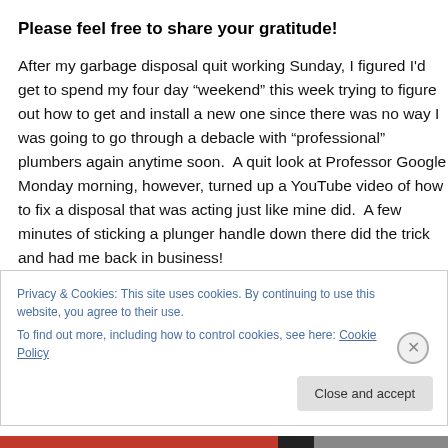Please feel free to share your gratitude!
After my garbage disposal quit working Sunday, I figured I'd get to spend my four day “weekend” this week trying to figure out how to get and install a new one since there was no way I was going to go through a debacle with “professional” plumbers again anytime soon.  A quit look at Professor Google Monday morning, however, turned up a YouTube video of how to fix a disposal that was acting just like mine did.  A few minutes of sticking a plunger handle down there did the trick and had me back in business!
Privacy & Cookies: This site uses cookies. By continuing to use this website, you agree to their use.
To find out more, including how to control cookies, see here: Cookie Policy